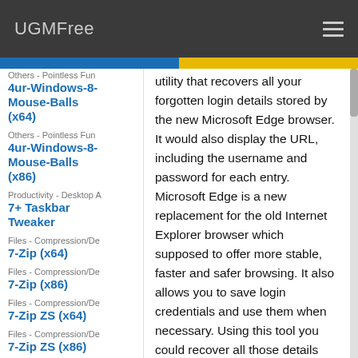UGMFree
Others - Pointless Fun | 4ur-Windows-8-Mouse-Balls (x64)
Others - Pointless Fun | 4ur-Windows-8-Mouse-Balls (x86)
Productivity - Desktop A... | 7+ Taskbar Tweaker
Files - Compression/De... | 7-Zip (x64)
Files - Compression/De... | 7-Zip (x86)
Files - Compression/De... | 7-Zip ZS (x64)
Files - Compression/De... | 7-Zip ZS (x86)
Games - Adventure | A Dark Room Portable
Files - Managers | A56 File
utility that recovers all your forgotten login details stored by the new Microsoft Edge browser. It would also display the URL, including the username and password for each entry. Microsoft Edge is a new replacement for the old Internet Explorer browser which supposed to offer more stable, faster and safer browsing. It also allows you to save login credentials and use them when necessary. Using this tool you could recover all those details within a second in case you have forgotten them and as simple as possible.